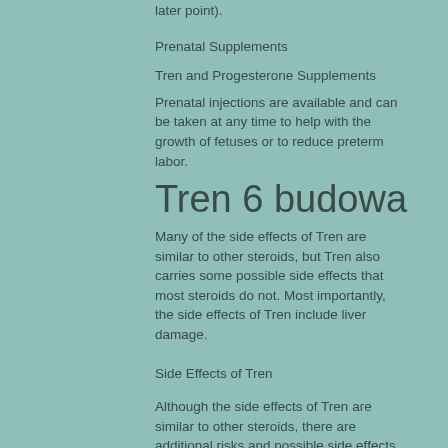later point).
Prenatal Supplements
Tren and Progesterone Supplements
Prenatal injections are available and can be taken at any time to help with the growth of fetuses or to reduce preterm labor.
Tren 6 budowa
Many of the side effects of Tren are similar to other steroids, but Tren also carries some possible side effects that most steroids do not. Most importantly, the side effects of Tren include liver damage.
Side Effects of Tren
Although the side effects of Tren are similar to other steroids, there are additional risks and possible side effects related to using